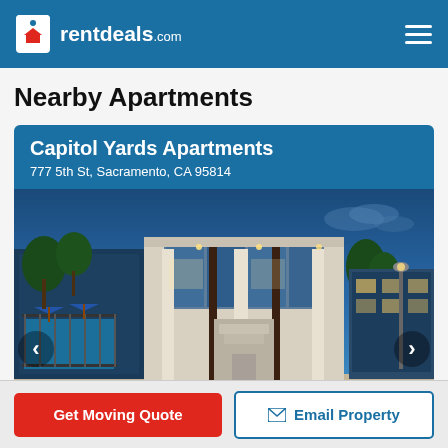rentdeals.com
Nearby Apartments
[Figure (screenshot): Apartment listing card for Capitol Yards Apartments at 777 5th St, Sacramento, CA 95814, showing a modern apartment building exterior photographed at dusk with a pool area on the left, glass facade in the center, and trees in the background. Navigation arrows on left and right sides of the image.]
Capitol Yards Apartments
777 5th St, Sacramento, CA 95814
Get Moving Quote
Email Property